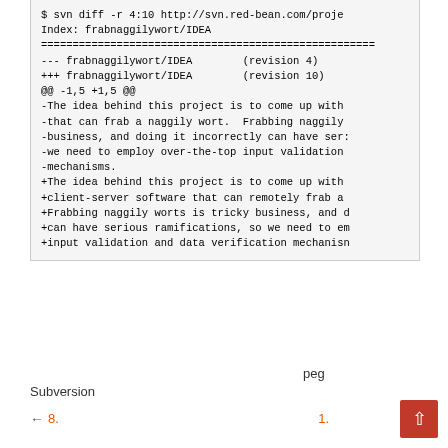$ svn diff -r 4:10 http://svn.red-bean.com/proje
Index: frabnaggilywort/IDEA
==================================================
--- frabnaggilywort/IDEA        (revision 4)
+++ frabnaggilywort/IDEA        (revision 10)
@@ -1,5 +1,5 @@
-The idea behind this project is to come up with
-that can frab a naggily wort.  Frabbing naggily
-business, and doing it incorrectly can have ser:
-we need to employ over-the-top input validation
-mechanisms.
+The idea behind this project is to come up with
+client-server software that can remotely frab a
+Frabbing naggily worts is tricky business, and d
+can have serious ramifications, so we need to er
+input validation and data verification mechanisn
peg　　　　Subversion